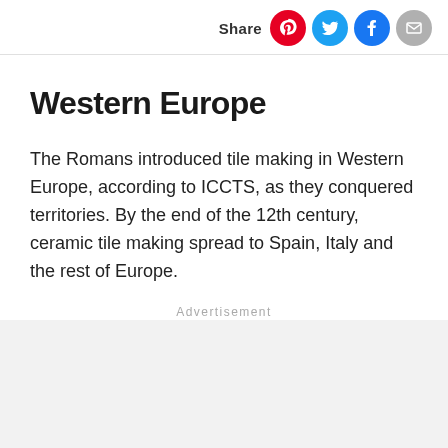Share
Western Europe
The Romans introduced tile making in Western Europe, according to ICCTS, as they conquered territories. By the end of the 12th century, ceramic tile making spread to Spain, Italy and the rest of Europe.
Advertisement